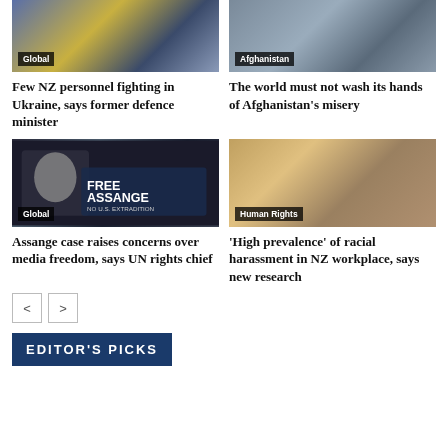[Figure (photo): People holding Ukrainian flag, tagged Global]
[Figure (photo): Street scene Afghanistan, tagged Afghanistan]
Few NZ personnel fighting in Ukraine, says former defence minister
The world must not wash its hands of Afghanistan's misery
[Figure (photo): Protesters holding Free Assange banner outside court, tagged Global]
[Figure (photo): Workplace office scene, tagged Human Rights]
Assange case raises concerns over media freedom, says UN rights chief
'High prevalence' of racial harassment in NZ workplace, says new research
< >
EDITOR'S PICKS